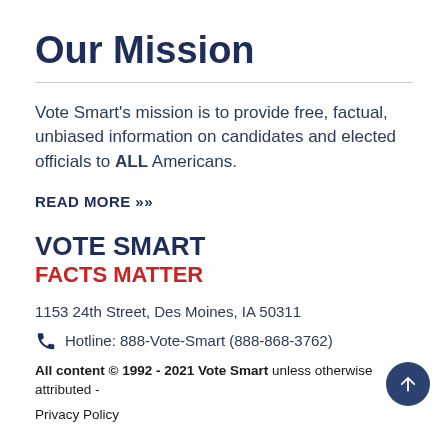Our Mission
Vote Smart's mission is to provide free, factual, unbiased information on candidates and elected officials to ALL Americans.
READ MORE >>
VOTE SMART
FACTS MATTER
1153 24th Street, Des Moines, IA 50311
Hotline: 888-Vote-Smart (888-868-3762)
All content © 1992 - 2021 Vote Smart unless otherwise attributed - Privacy Policy